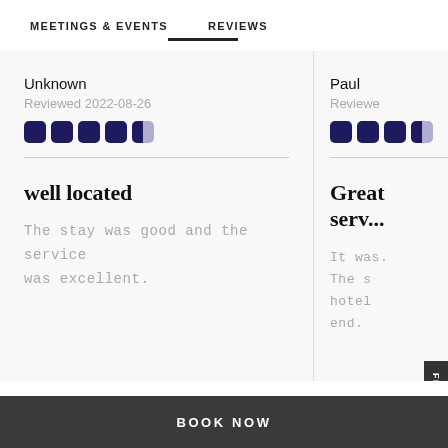MEETINGS & EVENTS   REVIEWS
Unknown
Reviewed 2022-08-26
Paul
Reviewe
well located
The stay was good and the service was excellent.
Great serv...
It was. The s hotel end.
FEEDBACK
BOOK NOW